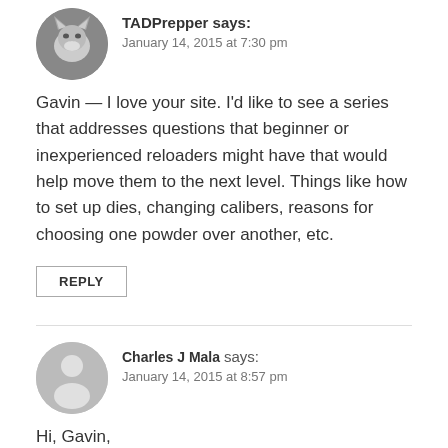TADPrepper says: January 14, 2015 at 7:30 pm
Gavin — I love your site. I'd like to see a series that addresses questions that beginner or inexperienced reloaders might have that would help move them to the next level. Things like how to set up dies, changing calibers, reasons for choosing one powder over another, etc.
REPLY
Charles J Mala says: January 14, 2015 at 8:57 pm
Hi, Gavin,
I so look forward to any and all reloading equipment videos you do, They are the best! I would love to see any reloading presses that you have not done like the RCBS Summit press or the Lyman T-Mag or the Forster press.